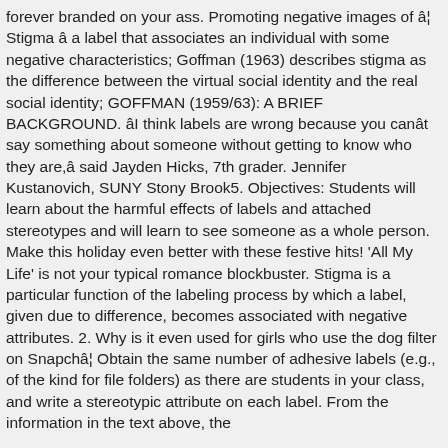forever branded on your ass. Promoting negative images of â¦ Stigma â a label that associates an individual with some negative characteristics; Goffman (1963) describes stigma as the difference between the virtual social identity and the real social identity; GOFFMAN (1959/63): A BRIEF BACKGROUND. âI think labels are wrong because you canât say something about someone without getting to know who they are,â said Jayden Hicks, 7th grader. Jennifer Kustanovich, SUNY Stony Brook5. Objectives: Students will learn about the harmful effects of labels and attached stereotypes and will learn to see someone as a whole person. Make this holiday even better with these festive hits! 'All My Life' is not your typical romance blockbuster. Stigma is a particular function of the labeling process by which a label, given due to difference, becomes associated with negative attributes. 2. Why is it even used for girls who use the dog filter on Snapchâ¦ Obtain the same number of adhesive labels (e.g., of the kind for file folders) as there are students in your class, and write a stereotypic attribute on each label. From the information in the text above, the